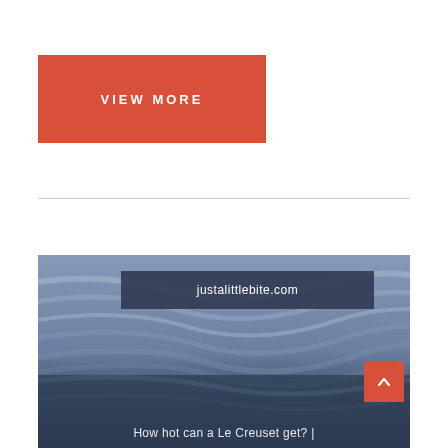VIEW MORE
[Figure (other): Footer section with blue wavy abstract background, site name bar 'justalittlebite.com', scroll-up button, and footer text 'How hot can a Le Creuset get?']